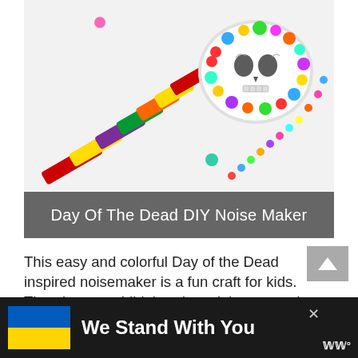[Figure (photo): A colorful Day of the Dead inspired noisemaker/maraca with rainbow-colored pipe cleaner wrapped handle and skull decorated head covered in colorful rhinestones/gems, set against a white background]
Day Of The Dead DIY Noise Maker
This easy and colorful Day of the Dead inspired noisemaker is a fun craft for kids.  There's not a child that doesn't love to make noise. This DIY sugar skull noisemaker is a great pipe cleaner craft and
[Figure (infographic): Ad banner: Ukraine flag (blue and yellow) with text 'We Stand With You' on dark background with close button and logo]